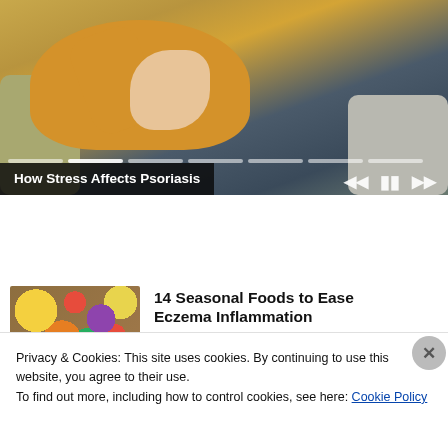[Figure (screenshot): Video thumbnail showing a person in a yellow sweater scratching their arm, with media playback controls and a progress bar. Title overlay reads 'How Stress Affects Psoriasis'.]
How Stress Affects Psoriasis
[Figure (photo): Thumbnail of colorful seasonal foods including vegetables and fruits arranged together]
14 Seasonal Foods to Ease Eczema Inflammation
Privacy & Cookies: This site uses cookies. By continuing to use this website, you agree to their use.
To find out more, including how to control cookies, see here: Cookie Policy
Close and accept